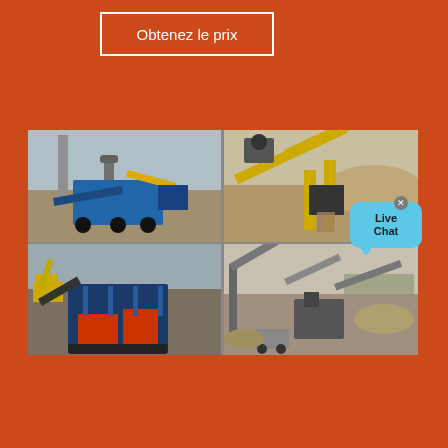Obtenez le prix
[Figure (photo): Four-panel photo collage of industrial mining/crushing equipment: top-left shows blue mobile crusher with chimney; top-right shows yellow conveyor belt system with aggregate; bottom-left shows blue jaw crusher/screening plant; bottom-right shows large-scale aggregate processing plant with conveyors and trucks]
alle artikelen over man en vrouw | infobron
De kunst van het vrouwen verleiden Om een vrouw te kunnen verleiden zal je als man allerlei verleidingstechnieken moet